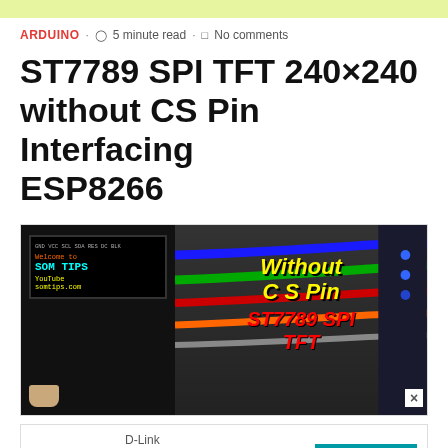ARDUINO · 5 minute read · No comments
ST7789 SPI TFT 240×240 without CS Pin Interfacing ESP8266
[Figure (photo): Photo of a small TFT display showing 'Welcome to SOM TIPS YouTube somtips.com' with colorful wires connecting to an ESP8266 board. Overlaid text reads 'Without CS Pin' in yellow and 'ST7789 SPI TFT' in red.]
[Figure (other): D-Link advertisement banner with D-Link logo, text 'Award-Winning Design', and an OPEN button]